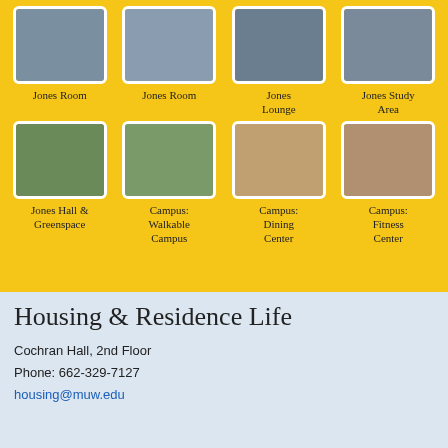[Figure (photo): Grid of 8 photos showing Jones Room (x2), Jones Lounge, Jones Study Area, Jones Hall & Greenspace, Campus Walkable Campus, Campus Dining Center, Campus Fitness Center]
Jones Room
Jones Room
Jones Lounge
Jones Study Area
Jones Hall & Greenspace
Campus: Walkable Campus
Campus: Dining Center
Campus: Fitness Center
Housing & Residence Life
Cochran Hall, 2nd Floor
Phone: 662-329-7127
housing@muw.edu